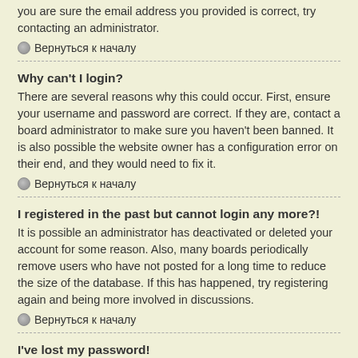you are sure the email address you provided is correct, try contacting an administrator.
Вернуться к началу
Why can't I login?
There are several reasons why this could occur. First, ensure your username and password are correct. If they are, contact a board administrator to make sure you haven't been banned. It is also possible the website owner has a configuration error on their end, and they would need to fix it.
Вернуться к началу
I registered in the past but cannot login any more?!
It is possible an administrator has deactivated or deleted your account for some reason. Also, many boards periodically remove users who have not posted for a long time to reduce the size of the database. If this has happened, try registering again and being more involved in discussions.
Вернуться к началу
I've lost my password!
Don't panic! While your password cannot be retrieved, it can easily be reset. Visit the login page and click I forgot my password. Follow the